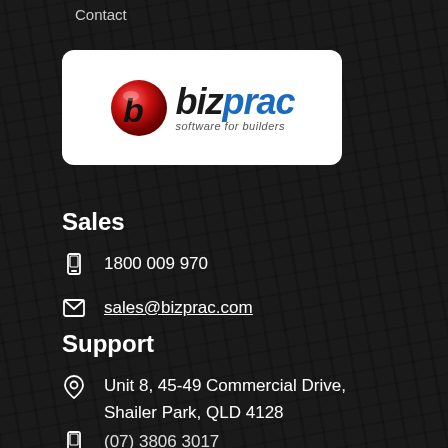Contact
[Figure (logo): Bizprac logo — red and black globe/B icon with text 'bizprac' in blue italic and tagline 'software for builders' in grey italic, on white rounded rectangle background]
Sales
1800 009 970
sales@bizprac.com
Support
Unit 8, 45-49 Commercial Drive, Shailer Park, QLD 4128
(07) 3806 3017